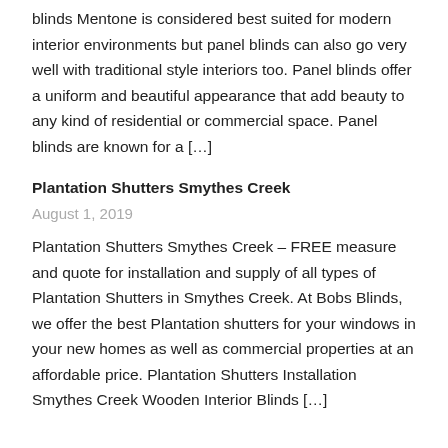blinds Mentone is considered best suited for modern interior environments but panel blinds can also go very well with traditional style interiors too. Panel blinds offer a uniform and beautiful appearance that add beauty to any kind of residential or commercial space. Panel blinds are known for a […]
Plantation Shutters Smythes Creek
August 1, 2019
Plantation Shutters Smythes Creek – FREE measure and quote for installation and supply of all types of Plantation Shutters in Smythes Creek. At Bobs Blinds, we offer the best Plantation shutters for your windows in your new homes as well as commercial properties at an affordable price. Plantation Shutters Installation Smythes Creek Wooden Interior Blinds […]